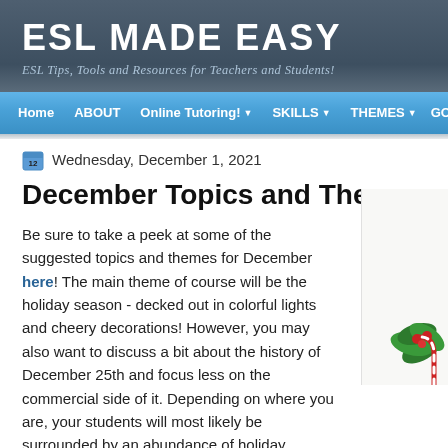ESL MADE EASY
ESL Tips, Tools and Resources for Teachers and Students!
Home | ABOUT | Online Tutoring! | SKILLS | THEMES | GO C...
Wednesday, December 1, 2021
December Topics and Themes
Be sure to take a peek at some of the suggested topics and themes for December here! The main theme of course will be the holiday season - decked out in colorful lights and cheery decorations! However, you may also want to discuss a bit about the history of December 25th and focus less on the commercial side of it. Depending on where you are, your students will most likely be surrounded by an abundance of holiday festivities, Christmas carols and red and green symbols